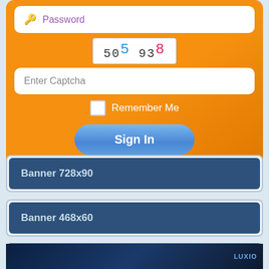[Figure (screenshot): Login form with password field, captcha image showing '50^5 93^8', Enter Captcha text field, Remember Me checkbox, and Sign In button on orange gradient background]
Banner 728x90
Banner 468x60
Payout Ratio